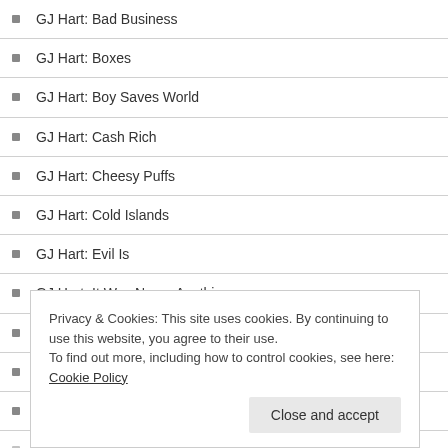GJ Hart: Bad Business
GJ Hart: Boxes
GJ Hart: Boy Saves World
GJ Hart: Cash Rich
GJ Hart: Cheesy Puffs
GJ Hart: Cold Islands
GJ Hart: Evil Is
GJ Hart: It Was Never Anything
GJ Hart: What Are They?
Glen Armstrong: Impossible Passages #47
Graham Wynd: Repetition
Privacy & Cookies: This site uses cookies. By continuing to use this website, you agree to their use.
To find out more, including how to control cookies, see here: Cookie Policy
Hannah Stiell: Through the Sculpture